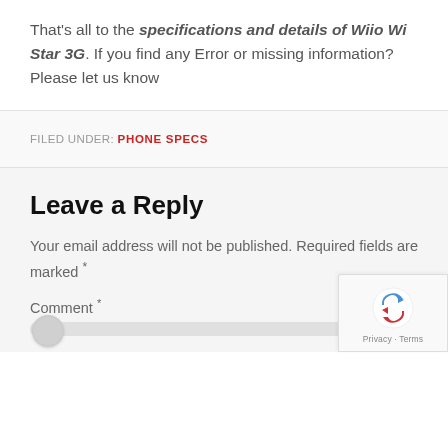That's all to the specifications and details of Wiio Wi Star 3G. If you find any Error or missing information? Please let us know
FILED UNDER: PHONE SPECS
Leave a Reply
Your email address will not be published. Required fields are marked *
Comment *